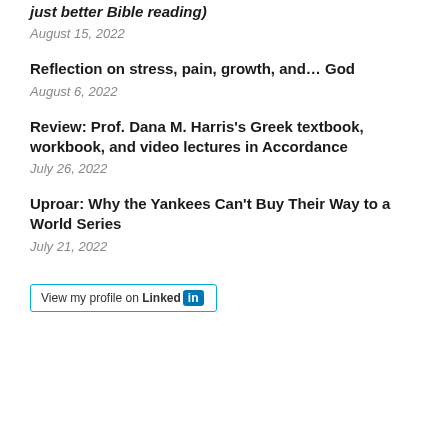just better Bible reading)
August 15, 2022
Reflection on stress, pain, growth, and… God
August 6, 2022
Review: Prof. Dana M. Harris's Greek textbook, workbook, and video lectures in Accordance
July 26, 2022
Uproar: Why the Yankees Can't Buy Their Way to a World Series
July 21, 2022
[Figure (logo): LinkedIn 'View my profile on LinkedIn' badge button with teal border]